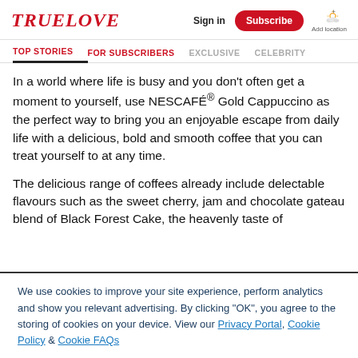TRUELOVE — Sign in | Subscribe | Add location
TOP STORIES | FOR SUBSCRIBERS | EXCLUSIVE | CELEBRITY
In a world where life is busy and you don't often get a moment to yourself, use NESCAFÉ® Gold Cappuccino as the perfect way to bring you an enjoyable escape from daily life with a delicious, bold and smooth coffee that you can treat yourself to at any time.
The delicious range of coffees already include delectable flavours such as the sweet cherry, jam and chocolate gateau blend of Black Forest Cake, the heavenly taste of
We use cookies to improve your site experience, perform analytics and show you relevant advertising. By clicking "OK", you agree to the storing of cookies on your device. View our Privacy Portal, Cookie Policy & Cookie FAQs